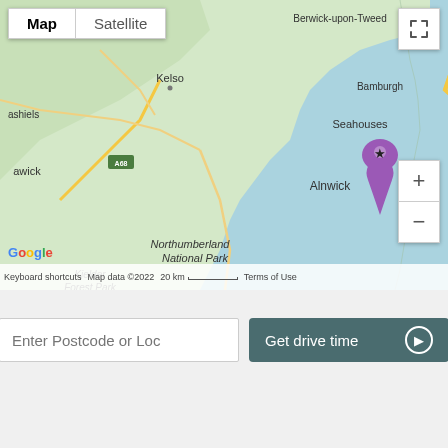[Figure (map): Google Map showing Northumberland area of northeast England. Purple location pin placed near Seahouses/Alnwick. Map shows Berwick-upon-Tweed to the north, Bamburgh, Seahouses, Alnwick, Kelso, Northumberland National Park, Kielder Forest Park, and the A1 and A68 roads. North Sea visible on right. Map/Satellite toggle, fullscreen button, and zoom controls visible. Google logo and attribution bar at bottom.]
Enter Postcode or Location
Get drive time